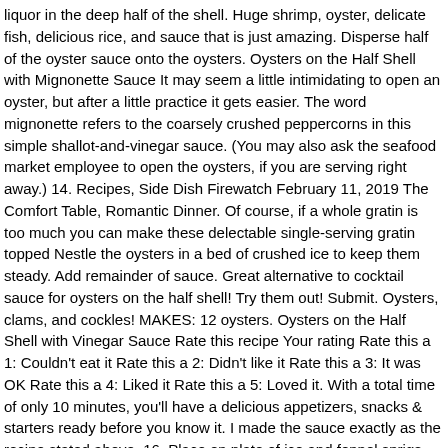liquor in the deep half of the shell. Huge shrimp, oyster, delicate fish, delicious rice, and sauce that is just amazing. Disperse half of the oyster sauce onto the oysters. Oysters on the Half Shell with Mignonette Sauce It may seem a little intimidating to open an oyster, but after a little practice it gets easier. The word mignonette refers to the coarsely crushed peppercorns in this simple shallot-and-vinegar sauce. (You may also ask the seafood market employee to open the oysters, if you are serving right away.) 14. Recipes, Side Dish Firewatch February 11, 2019 The Comfort Table, Romantic Dinner. Of course, if a whole gratin is too much you can make these delectable single-serving gratin topped Nestle the oysters in a bed of crushed ice to keep them steady. Add remainder of sauce. Great alternative to cocktail sauce for oysters on the half shell! Try them out! Submit. Oysters, clams, and cockles! MAKES: 12 oysters. Oysters on the Half Shell with Vinegar Sauce Rate this recipe Your rating Rate this a 1: Couldn't eat it Rate this a 2: Didn't like it Rate this a 3: It was OK Rate this a 4: Liked it Rate this a 5: Loved it. With a total time of only 10 minutes, you'll have a delicious appetizers, snacks & starters ready before you know it. I made the sauce exactly as the recipe stated above. 16. Place on plate of ice and fennel sprigs and serve immediately. Purists like raw oysters with some fresh ground pepper and a dash of lemon juice. Oysters on the half-shell are my go-to move whenever I'm hosting a cocktail or dinner party, since they're the perfect party-starter. Home Blog Recipes Gallery About Contact Oysters on the Half Shell with 3 Sauces Oysters on the half shell butter with